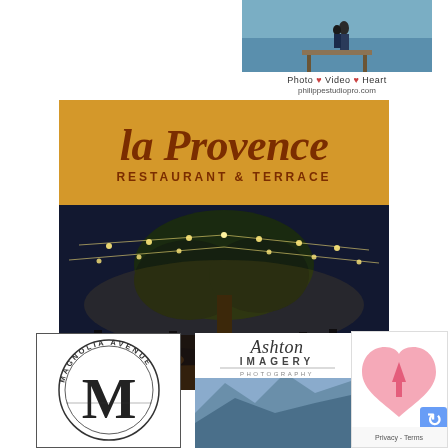[Figure (photo): Philippe Studio Pro advertisement: photo of couple on dock with text 'Photo heart Video heart Heart' and website 'philippestudiopro.com']
[Figure (logo): La Provence Restaurant & Terrace advertisement: yellow/gold banner with script text 'la Provence' in brown and 'RESTAURANT & TERRACE' below, with a night photo of outdoor dining under string lights and large tree]
[Figure (logo): Magnolia Avenue logo: circular badge with text 'MAGNOLIA AVENUE' around a large decorative M]
[Figure (logo): Ashton Imagery Photography logo with script 'Ashton' text and 'IMAGERY PHOTOGRAPHY' below]
[Figure (illustration): Pink heart icon with upward arrow, partially visible CAPTCHA/privacy widget with 'Privacy - Terms' text]